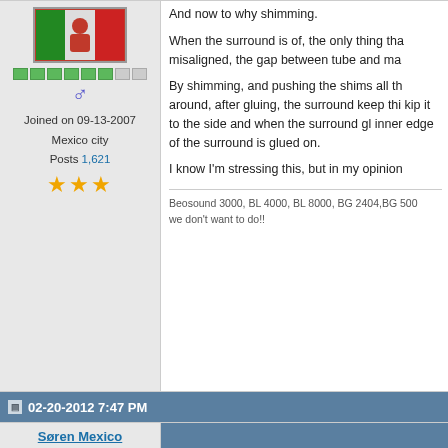[Figure (photo): User avatar showing a person with a Mexican flag]
Joined on 09-13-2007
Mexico city
Posts 1,621
★★★
And now to why shimming.

When the surround is of, the only thing tha... misaligned, the gap between tube and ma...

By shimming, and pushing the shims all th... around, after gluing, the surround keep thi... kip it to the side and when the surround gl... inner edge of the surround is glued on.

I know I'm stressing this, but in my opinion...
Beosound 3000, BL 4000, BL 8000, BG 2404,BG 500...
we don't want to do!!
02-20-2012 7:47 PM
Søren Mexico
Re: Refoaming Beovox S80